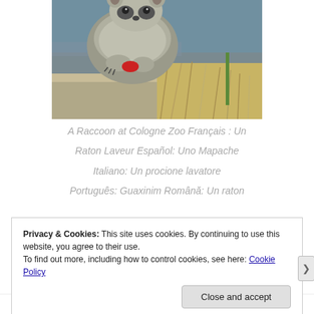[Figure (photo): A raccoon at Cologne Zoo, eating something red, standing near water on a wooden plank surrounded by dry grass and a green plant stem]
A Raccoon at Cologne Zoo Français : Un Raton Laveur Español: Uno Mapache Italiano: Un procione lavatore Português: Guaxinim Română: Un raton
Privacy & Cookies: This site uses cookies. By continuing to use this website, you agree to their use.
To find out more, including how to control cookies, see here: Cookie Policy